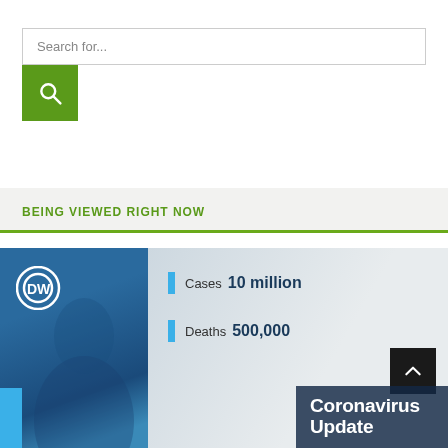[Figure (screenshot): Search input field with placeholder text 'Search for...' and a green search button below it with a magnifying glass icon]
BEING VIEWED RIGHT NOW
[Figure (screenshot): DW News coronavirus update article thumbnail showing blue-tinted photo on left with DW logo, and statistics on right: Cases 10 million, Deaths 500,000, with 'Coronavirus Update' title at bottom]